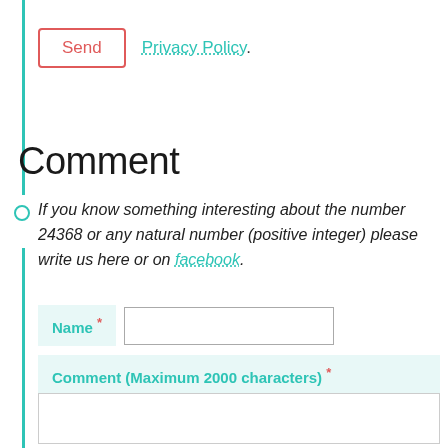Send  Privacy Policy.
Comment
If you know something interesting about the number 24368 or any natural number (positive integer) please write us here or on facebook.
Name *
Comment (Maximum 2000 characters) *